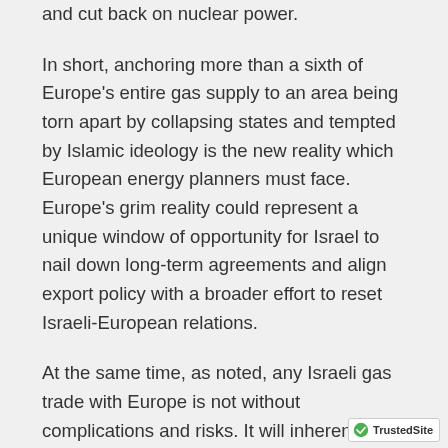and cut back on nuclear power.
In short, anchoring more than a sixth of Europe's entire gas supply to an area being torn apart by collapsing states and tempted by Islamic ideology is the new reality which European energy planners must face. Europe's grim reality could represent a unique window of opportunity for Israel to nail down long-term agreements and align export policy with a broader effort to reset Israeli-European relations.
At the same time, as noted, any Israeli gas trade with Europe is not without complications and risks. It will inherently cross Russia's domination of Europe's gas supply. Israel's gas offers a backstop against Russian threats to cut off supply as blackmail – much as Moscow has done in the past with gas pipelines to Ukraine – but that is not the primary strategic challenge to...